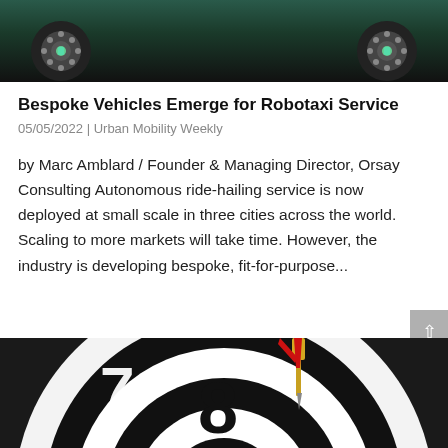[Figure (photo): Top portion of a dark green/teal toy or model car showing wheels from below, cropped at top of page]
Bespoke Vehicles Emerge for Robotaxi Service
05/05/2022 | Urban Mobility Weekly
by Marc Amblard / Founder & Managing Director, Orsay Consulting Autonomous ride-hailing service is now deployed at small scale in three cities across the world. Scaling to more markets will take time. However, the industry is developing bespoke, fit-for-purpose...
[Figure (photo): Close-up photo of a dartboard showing numbers 7 and 8 with a red-tipped dart/arrow hitting near center, black and white sections visible]